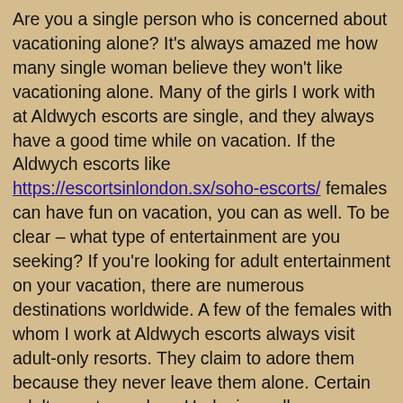Are you a single person who is concerned about vacationing alone? It's always amazed me how many single woman believe they won't like vacationing alone. Many of the girls I work with at Aldwych escorts are single, and they always have a good time while on vacation. If the Aldwych escorts like https://escortsinlondon.sx/soho-escorts/ females can have fun on vacation, you can as well. To be clear – what type of entertainment are you seeking? If you're looking for adult entertainment on your vacation, there are numerous destinations worldwide. A few of the females with whom I work at Aldwych escorts always visit adult-only resorts. They claim to adore them because they never leave them alone. Certain adult resorts, such as Hedonism, allow singletons to join in orgies. Hedonism II is one of the best spots to visit in Jamaica if you're looking to experience something new. Are you interested in a certain pastime? Another girl who works at Aldwych escorts is a true yoga devotee, spending at least a couple of hours per day practising. Each year, during her annual holiday from Aldwych escorts, she travels to this great yoga resort to meet up with other yoga enthusiasts. If you have a specific hobby, you can always locate a vacation destination that complements it. Take a look around; you'll see that the site covers a wide variety of pastimes. Nowadays, yoga vacations are available aboard cruise ships. My friend works for a competitor in the London prostitutes industry. While she is a nice young lady, there are times when I believe she is slightly insane. She decided